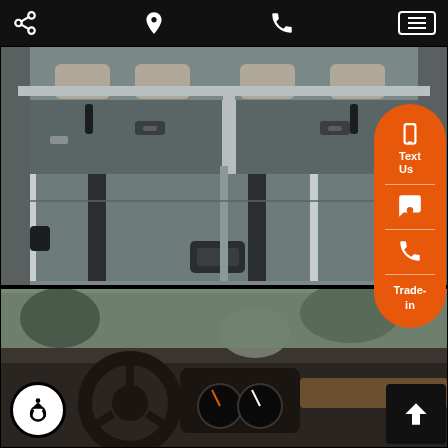[Figure (screenshot): Mobile website navigation bar with share, location pin, phone, and hamburger menu icons on black background]
[Figure (photo): Interior photo of a vehicle cargo area with folded-flat rear seats, gray carpet, and silver trim rails]
[Figure (screenshot): Orange side panel with Text Us, chat, phone, and Trade-in action buttons]
[Figure (photo): Partial interior photo showing vehicle dashboard and steering wheel]
[Figure (screenshot): Accessibility icon button (white circle with person figure) and scroll-to-top arrow button]